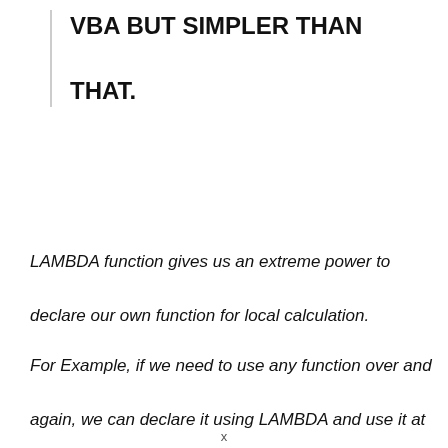VBA BUT SIMPLER THAN THAT.
LAMBDA function gives us an extreme power to declare our own function for local calculation.
For Example, if we need to use any function over and again, we can declare it using LAMBDA and use it at our convenience.
x